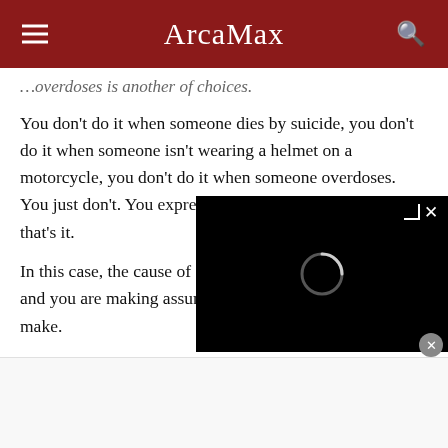ArcaMax
…overdoses is another of choices.
You don't do it when someone dies by suicide, you don't do it when someone isn't wearing a helmet on a motorcycle, you don't do it when someone overdoses. You just don't. You express your shock and sorrow, and that's it.
In this case, the cause of death has not been announced, and you are making assumptions that you really shouldn't make.
According to you, your sister … time anti-vaxxer, and has con…
[Figure (screenshot): Black video player overlay with loading spinner and close button (×)]